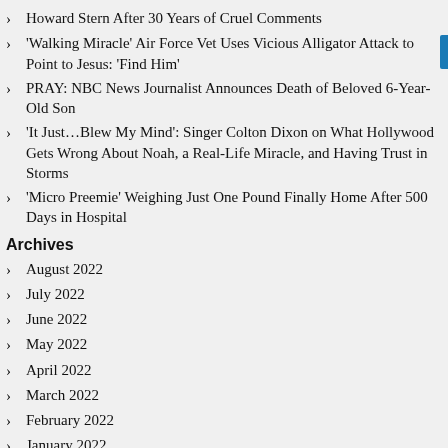Howard Stern After 30 Years of Cruel Comments
'Walking Miracle' Air Force Vet Uses Vicious Alligator Attack to Point to Jesus: 'Find Him'
PRAY: NBC News Journalist Announces Death of Beloved 6-Year-Old Son
'It Just…Blew My Mind': Singer Colton Dixon on What Hollywood Gets Wrong About Noah, a Real-Life Miracle, and Having Trust in Storms
'Micro Preemie' Weighing Just One Pound Finally Home After 500 Days in Hospital
Archives
August 2022
July 2022
June 2022
May 2022
April 2022
March 2022
February 2022
January 2022